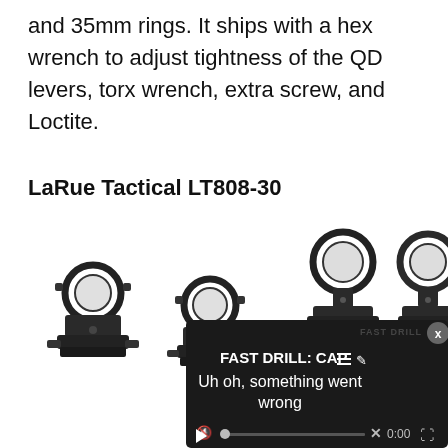and 35mm rings. It ships with a hex wrench to adjust tightness of the QD levers, torx wrench, extra screw, and Loctite.
LaRue Tactical LT808-30
[Figure (photo): Product photo showing LaRue Tactical LT808-30 scope ring mounts. Left side shows two black low-profile rings with QD levers assembled. Right side shows two taller rings with QD levers. An error overlay covers the bottom-right portion showing 'FAST DRILL: CAP - Uh oh, something went wrong' with media player controls.]